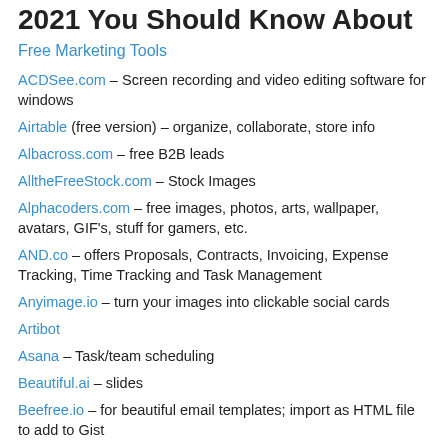2021 You Should Know About
Free Marketing Tools
ACDSee.com – Screen recording and video editing software for windows
Airtable (free version) – organize, collaborate, store info
Albacross.com – free B2B leads
AlltheFreeStock.com – Stock Images
Alphacoders.com – free images, photos, arts, wallpaper, avatars, GIF's, stuff for gamers, etc.
AND.co – offers Proposals, Contracts, Invoicing, Expense Tracking, Time Tracking and Task Management
Anyimage.io – turn your images into clickable social cards
Artibot
Asana – Task/team scheduling
Beautiful.ai – slides
Beefree.io – for beautiful email templates; import as HTML file to add to Gist
BlackMagicDesign.com – Editing Tools